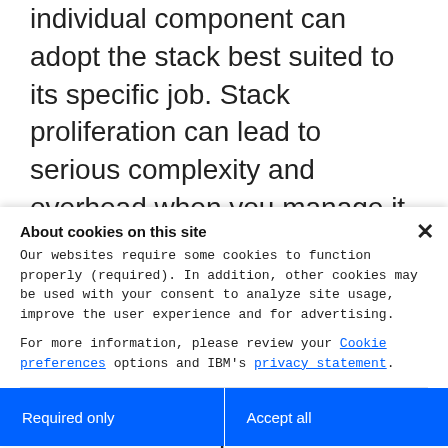individual component can adopt the stack best suited to its specific job. Stack proliferation can lead to serious complexity and overhead when you manage it yourself but consuming the supporting stack as cloud services can dramatically minimize management challenges. Put another way, while it's not impossible to roll your own microservices infrastructure, it's not advisable, especially when just
About cookies on this site
Our websites require some cookies to function properly (required). In addition, other cookies may be used with your consent to analyze site usage, improve the user experience and for advertising.
For more information, please review your Cookie preferences options and IBM's privacy statement.